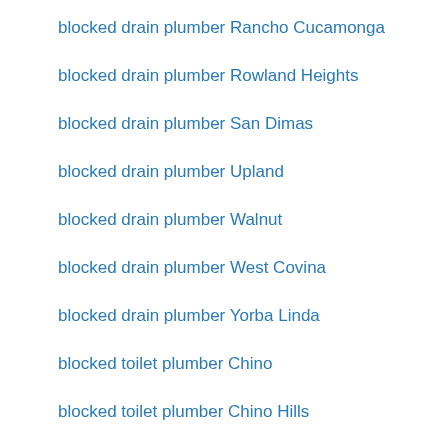blocked drain plumber Rancho Cucamonga
blocked drain plumber Rowland Heights
blocked drain plumber San Dimas
blocked drain plumber Upland
blocked drain plumber Walnut
blocked drain plumber West Covina
blocked drain plumber Yorba Linda
blocked toilet plumber Chino
blocked toilet plumber Chino Hills
blocked toilet plumber Claremont